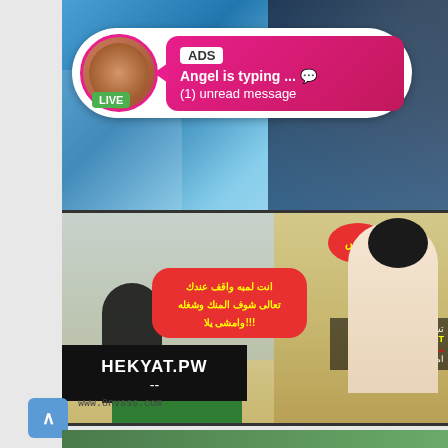[Figure (illustration): Animated/comic style illustration - top panel showing a character with blue clothing background]
[Figure (infographic): Advertisement overlay bubble showing profile avatar with LIVE badge, pink gradient message box with ADS label, 'Angel is typing ... ' and '(1) unread message']
[Figure (illustration): Comic panel with Arabic speech bubbles. First bubble (red oval) contains yellow Arabic text 'اووس'. Second red bubble contains Arabic text. Watermark 'HEKYAT.PW' and '--' on black background. Right side overlay with Arabic text and 'ZESWANGY.NET']
www.8nvsss.com